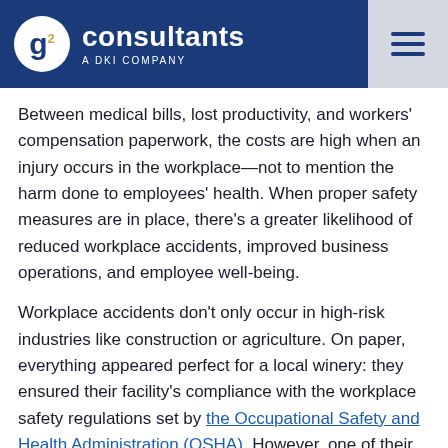g2 consultants A DKI COMPANY
Between medical bills, lost productivity, and workers' compensation paperwork, the costs are high when an injury occurs in the workplace—not to mention the harm done to employees' health. When proper safety measures are in place, there's a greater likelihood of reduced workplace accidents, improved business operations, and employee well-being.
Workplace accidents don't only occur in high-risk industries like construction or agriculture. On paper, everything appeared perfect for a local winery: they ensured their facility's compliance with the workplace safety regulations set by the Occupational Safety and Health Administration (OSHA). However, one of their employees got seriously